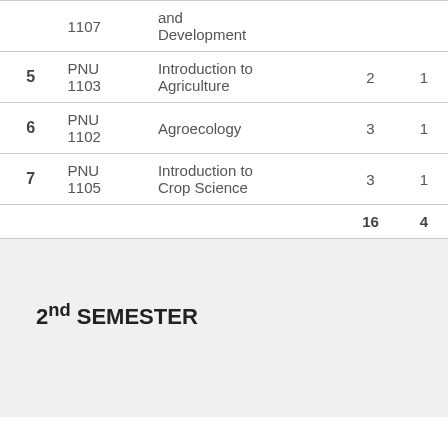| # | Code | Course Name | Hrs | Units |
| --- | --- | --- | --- | --- |
|  | 1107 | and Development |  |  |
| 5 | PNU 1103 | Introduction to Agriculture | 2 | 1 |
| 6 | PNU 1102 | Agroecology | 3 | 1 |
| 7 | PNU 1105 | Introduction to Crop Science | 3 | 1 |
|  |  |  | 16 | 4 |
2nd SEMESTER